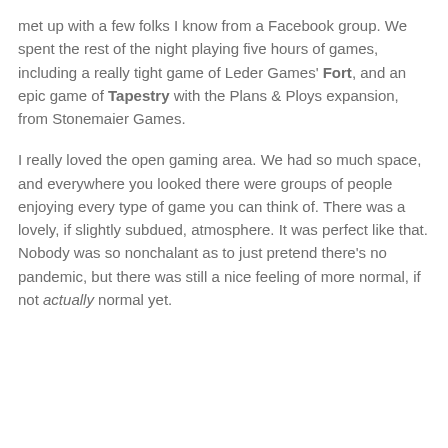met up with a few folks I know from a Facebook group. We spent the rest of the night playing five hours of games, including a really tight game of Leder Games' Fort, and an epic game of Tapestry with the Plans & Ploys expansion, from Stonemaier Games.
I really loved the open gaming area. We had so much space, and everywhere you looked there were groups of people enjoying every type of game you can think of. There was a lovely, if slightly subdued, atmosphere. It was perfect like that. Nobody was so nonchalant as to just pretend there's no pandemic, but there was still a nice feeling of more normal, if not actually normal yet.